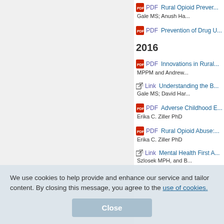PDF  Rural Opioid Prever... Gale MS; Anush Ha...
PDF  Prevention of Drug U...
2016
PDF  Innovations in Rural... MPPM and Andrew...
Link  Understanding the B... Gale MS; David Har...
PDF  Adverse Childhood E... Erika C. Ziller PhD
PDF  Rural Opioid Abuse:... Erika C. Ziller PhD
Link  Mental Health First A... Szlosek MPH, and B...
We use cookies to help provide and enhance our service and tailor content. By closing this message, you agree to the use of cookies.